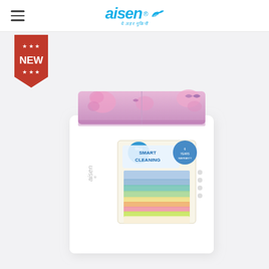[Figure (logo): Aisen brand logo with bird icon and Hindi tagline]
[Figure (photo): Aisen semi-automatic washing machine with floral pink/purple lid design and Smart Cleaning label on front panel. NEW badge in top left corner.]